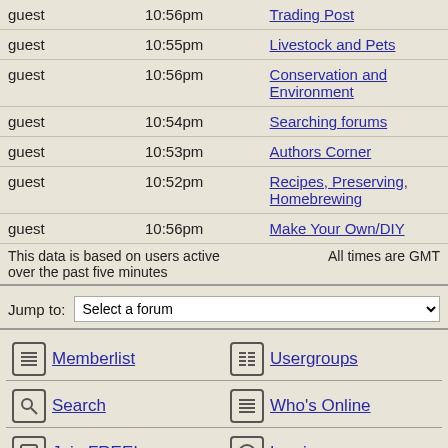|  |  |  |
| --- | --- | --- |
| guest | 10:56pm | Trading Post |
| guest | 10:55pm | Livestock and Pets |
| guest | 10:56pm | Conservation and Environment |
| guest | 10:54pm | Searching forums |
| guest | 10:53pm | Authors Corner |
| guest | 10:52pm | Recipes, Preserving, Homebrewing |
| guest | 10:56pm | Make Your Own/DIY |
This data is based on users active over the past five minutes    All times are GMT
Jump to: Select a forum
Memberlist
Usergroups
Search
Who's Online
Join FREE!
Log in